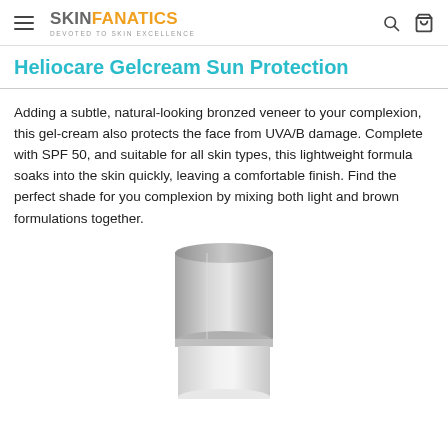SKIN FANATICS — DEVOTED TO SKIN EXCELLENCE
Heliocare Gelcream Sun Protection
Adding a subtle, natural-looking bronzed veneer to your complexion, this gel-cream also protects the face from UVA/B damage. Complete with SPF 50, and suitable for all skin types, this lightweight formula soaks into the skin quickly, leaving a comfortable finish. Find the perfect shade for you complexion by mixing both light and brown formulations together.
[Figure (photo): Silver/grey cylindrical product container — Heliocare Gelcream Sun Protection SPF 50 tube/bottle, metallic cap shown]